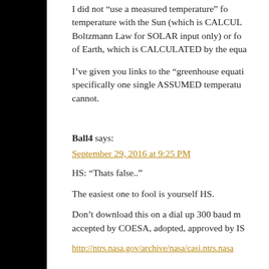I did not “use a measured temperature” fo... temperature with the Sun (which is CALCUL... Boltzmann Law for SOLAR input only) or fo... of Earth, which is CALCULATED by the equa...
I’ve given you links to the “greenhouse equati... specifically one single ASSUMED temperatu... cannot.
Ball4 says:
September 29, 2016 at 9:25 PM
HS: “Thats false..”
The easiest one to fool is yourself HS.
Don’t download this on a dial up 300 baud m... accepted by COESA, adopted, approved by IS...
http://ntrs.nasa.gov/archive/nasa/casi.ntrs.nasa...